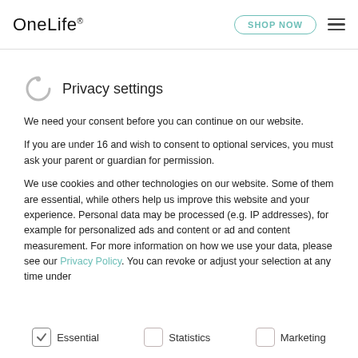OneLife® — SHOP NOW ≡
Privacy settings
We need your consent before you can continue on our website.
If you are under 16 and wish to consent to optional services, you must ask your parent or guardian for permission.
We use cookies and other technologies on our website. Some of them are essential, while others help us improve this website and your experience. Personal data may be processed (e.g. IP addresses), for example for personalized ads and content or ad and content measurement. For more information on how we use your data, please see our Privacy Policy. You can revoke or adjust your selection at any time under
Essential
Statistics
Marketing